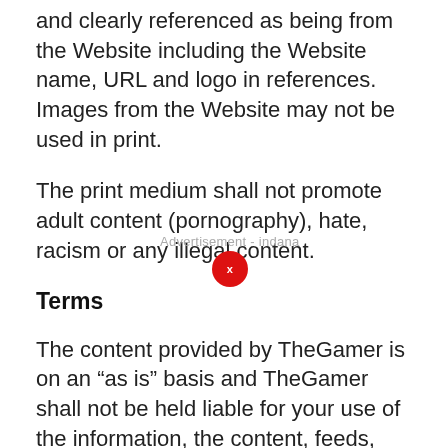and clearly referenced as being from the Website including the Website name, URL and logo in references. Images from the Website may not be used in print.
The print medium shall not promote adult content (pornography), hate, racism or any illegal content.
Terms
The content provided by TheGamer is on an “as is” basis and TheGamer shall not be held liable for your use of the information, the content, feeds, etc. Use of the site is at your discretion. TheGamer shall not be responsible for any complaints regarding content or images you choose to display on your site or in print.